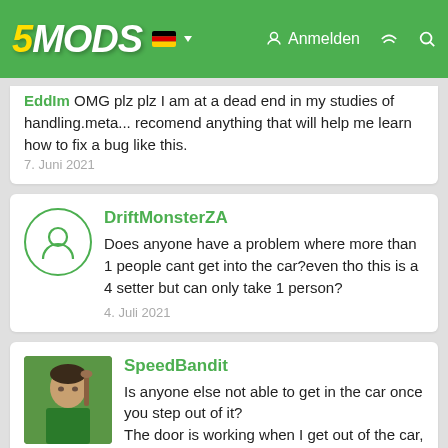5MODS | Anmelden
EddIm OMG plz plz I am at a dead end in my studies of handling.meta... recomend anything that will help me learn how to fix a bug like this. 7. Juni 2021
DriftMonsterZA Does anyone have a problem where more than 1 people cant get into the car?even tho this is a 4 setter but can only take 1 person? 4. Juli 2021
SpeedBandit Is anyone else not able to get in the car once you step out of it? The door is working when I get out of the car, but when I want to get in, nothing absolutely happens, no matter how many of them I spawn and try. 1. August 2021